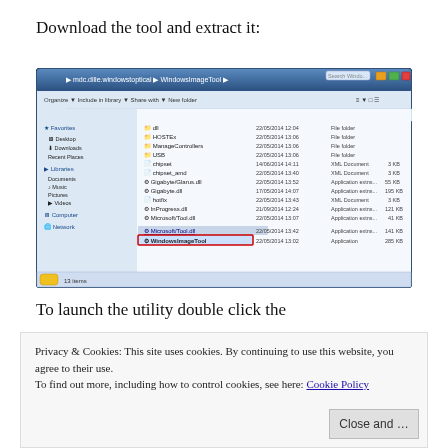Download the tool and extract it:
[Figure (screenshot): Windows Explorer window showing extracted WindowsImageTool files including folders (dll, HOSTEx, ManageControllers, USB) and application files (chipset, chipset_amd, Gigabyte/Glarus.dll, Gigabyte.dll, hotfix, InProgress.dll, Microsoft/Tool.dll, Microsoft/Tool.dll highlighted, WindowsImageTool highlighted in red box). Status bar shows 13 items.]
To launch the utility double click the
Privacy & Cookies: This site uses cookies. By continuing to use this website, you agree to their use.
To find out more, including how to control cookies, see here: Cookie Policy